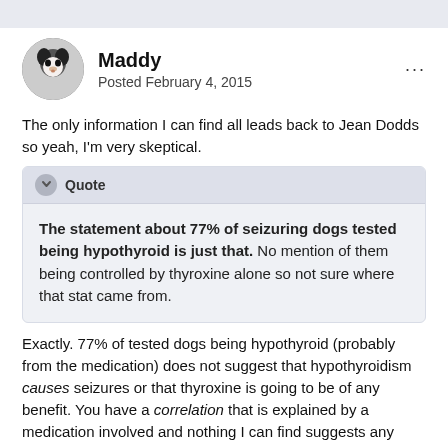[Figure (photo): Avatar of a dog (black and white coloring), circular crop]
Maddy
Posted February 4, 2015
The only information I can find all leads back to Jean Dodds so yeah, I'm very skeptical.
Quote
The statement about 77% of seizuring dogs tested being hypothyroid is just that. No mention of them being controlled by thyroxine alone so not sure where that stat came from.
Exactly. 77% of tested dogs being hypothyroid (probably from the medication) does not suggest that hypothyroidism causes seizures or that thyroxine is going to be of any benefit. You have a correlation that is explained by a medication involved and nothing I can find suggests any causation.
As an aside.. here is a list of symptoms/disorders jean Dodds